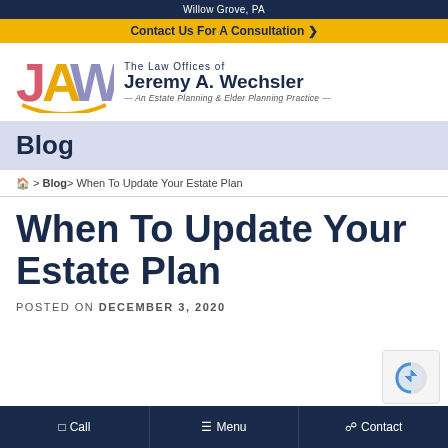Willow Grove, PA
Contact Us For A Consultation ❯
[Figure (logo): JAW logo with colorful letters J in red/pink, A in gold, W in purple, and arc underneath forming a smile shape]
The Law Offices of Jeremy A. Wechsler — An Estate Planning & Elder Planning Practice —
Blog
🏠 > Blog > When To Update Your Estate Plan
When To Update Your Estate Plan
POSTED ON DECEMBER 3, 2020
📱 Call   ☰ Menu   🖩 Contact